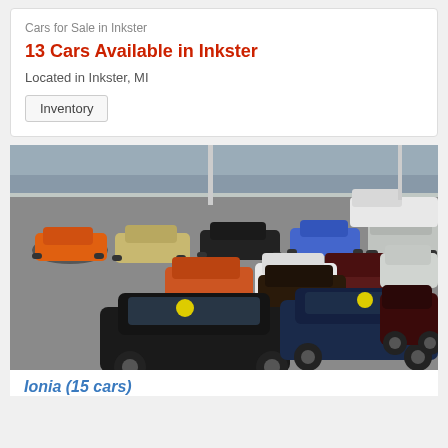Cars for Sale in Inkster
13 Cars Available in Inkster
Located in Inkster, MI
Inventory
[Figure (photo): Aerial view of a used car dealership lot with many vehicles parked in rows including SUVs, sedans, and minivans. Vehicles include orange, black, white, red, blue, and dark colored cars.]
Ionia (15 cars)